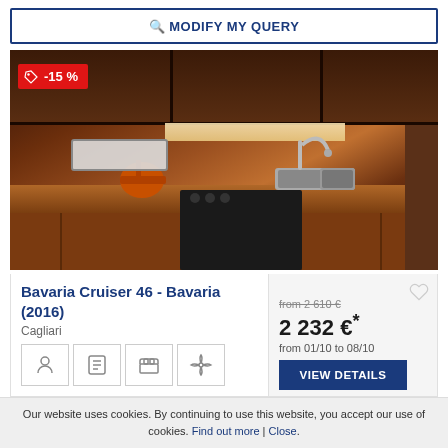MODIFY MY QUERY
[Figure (photo): Interior photo of a boat galley kitchen showing wooden cabinetry, stainless steel sink with faucet, gas stove/oven, and a kettle. A -15% discount tag overlays the top-left corner.]
Bavaria Cruiser 46 - Bavaria (2016)
Cagliari
from 2 610 €
2 232 €*
from 01/10 to 08/10
VIEW DETAILS
Our website uses cookies. By continuing to use this website, you accept our use of cookies. Find out more | Close.